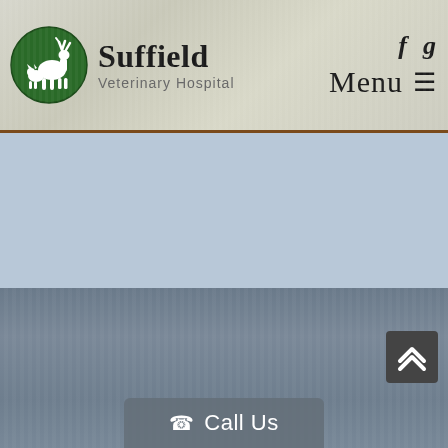[Figure (logo): Suffield Veterinary Hospital logo: green circle with white silhouette of a deer and smaller animals, with text 'Suffield Veterinary Hospital' beside it]
[Figure (screenshot): Website header navigation showing Facebook 'f' icon and Google 'g' icon as social links, plus 'Menu' text with hamburger icon]
[Figure (screenshot): Partially visible green 'Submit' button]
[Figure (screenshot): Light blue content area below header]
[Figure (screenshot): Dark blue-grey content area in lower portion of page]
[Figure (screenshot): Dark grey back-to-top button with upward chevron arrows in bottom right]
Call Us